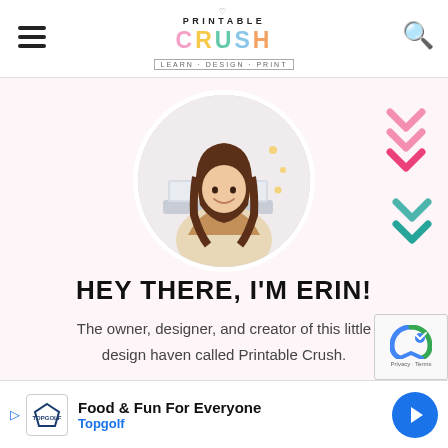Printable Crush — LEARN · DESIGN · PRINT
[Figure (photo): Circular profile photo of Erin, a young woman with long brown hair, smiling and working on a laptop in a bright studio setting.]
HEY THERE, I'M ERIN!
The owner, designer, and creator of this little design haven called Printable Crush.
[Figure (other): Advertisement banner: Food & Fun For Everyone — Topgolf]
[Figure (other): reCAPTCHA widget overlay in bottom right corner]